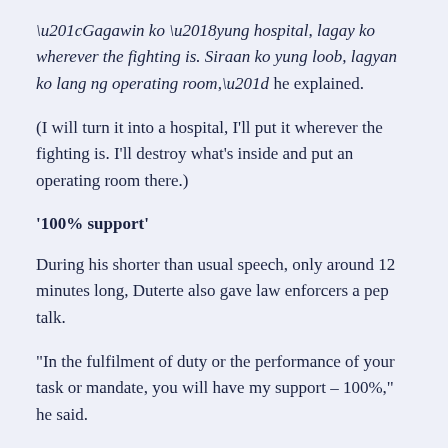“Gagawin ko ‘yung hospital, lagay ko wherever the fighting is. Siraan ko yung loob, lagyan ko lang ng operating room,” he explained.
(I will turn it into a hospital, I’ll put it wherever the fighting is. I’ll destroy what’s inside and put an operating room there.)
‘100% support’
During his shorter than usual speech, only around 12 minutes long, Duterte also gave law enforcers a pep talk.
“In the fulfilment of duty or the performance of your task or mandate, you will have my support – 100%,” he said.